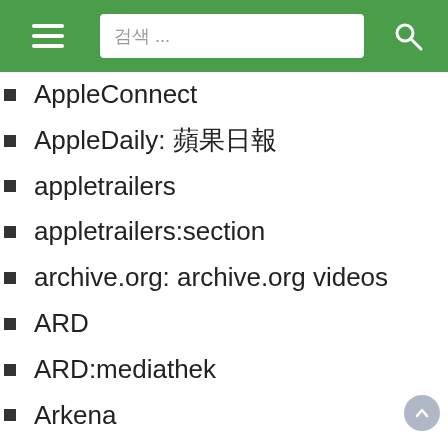≡  검색 ...  🔍
AppleConnect
AppleDaily: 蘋果日報
appletrailers
appletrailers:section
archive.org: archive.org videos
ARD
ARD:mediathek
Arkena
arte.tv
arte.tv:+7
arte.tv:cinema
arte.tv:concert